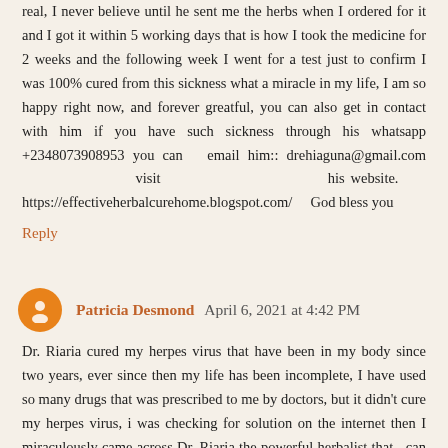real, I never believe until he sent me the herbs when I ordered for it and I got it within 5 working days that is how I took the medicine for 2 weeks and the following week I went for a test just to confirm I was 100% cured from this sickness what a miracle in my life, I am so happy right now, and forever greatful, you can also get in contact with him if you have such sickness through his whatsapp +2348073908953 you can  email him:: drehiaguna@gmail.com                    visit                    his website.     https://effectiveherbalcurehome.blogspot.com/    God bless you
Reply
Patricia Desmond  April 6, 2021 at 4:42 PM
Dr. Riaria cured my herpes virus that have been in my body since two years, ever since then my life has been incomplete, I have used so many drugs that was prescribed to me by doctors, but it didn't cure my herpes virus, i was checking for solution on the internet then I miraculously came across Dr. Riaria the powerful herbalist that  can cure herpes infection, then I contacted him through his email, I explained everything to him and he prepared a herbal medicine and sent it to me through FedEx, which I took